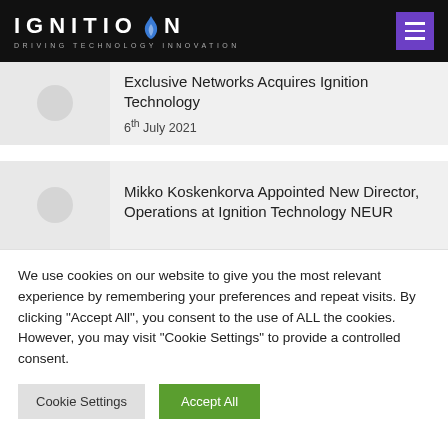IGNITION — DRIVING TECHNOLOGY INNOVATION
Exclusive Networks Acquires Ignition Technology
6th July 2021
Mikko Koskenkorva Appointed New Director, Operations at Ignition Technology NEUR
We use cookies on our website to give you the most relevant experience by remembering your preferences and repeat visits. By clicking "Accept All", you consent to the use of ALL the cookies. However, you may visit "Cookie Settings" to provide a controlled consent.
Cookie Settings | Accept All